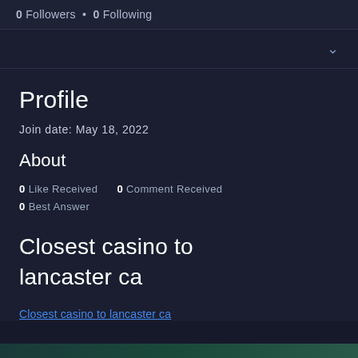0 Followers • 0 Following
Profile
Join date: May 18, 2022
About
0 Like Received    0 Comment Received
0 Best Answer
Closest casino to lancaster ca
Closest casino to lancaster ca